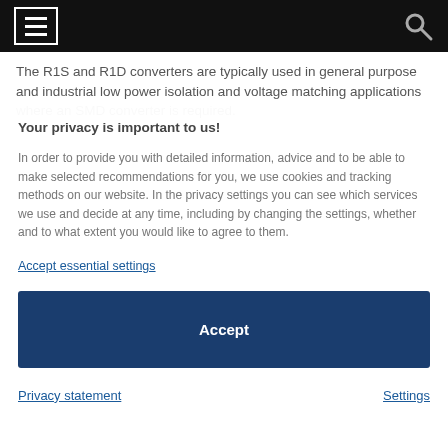The R1S and R1D converters are typically used in general purpose and industrial low power isolation and voltage matching applications where an SMD converter is required.
Your privacy is important to us!
In order to provide you with detailed information, advice and to be able to make selected recommendations for you, we use cookies and tracking methods on our website. In the privacy settings you can see which services we use and decide at any time, including by changing the settings, whether and to what extent you would like to agree to them.
Accept essential settings
Accept
Privacy statement
Settings